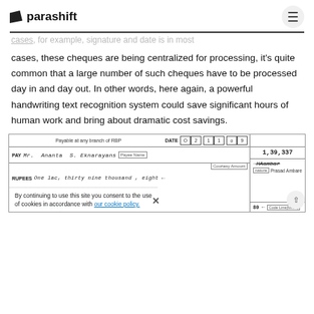parashift
cases, these cheques are being centralized for processing, it's quite common that a large number of such cheques have to be processed day in and day out. In other words, here again, a powerful handwriting text recognition system could save significant hours of human work and bring about dramatic cost savings.
[Figure (photo): A scanned cheque image showing: Payable at any branch of RBP, DATE 02 11 09, PAY Mr. Ananta S. Eknarayans [Payee Name], Courtesy Amount, RUPEES One lac, thirty nine thousand, eight→ 1,39,337, signature of Prasad Ambare, Code Line(MICR) 80]
By continuing to use this site you consent to the use of cookies in accordance with our cookie policy.